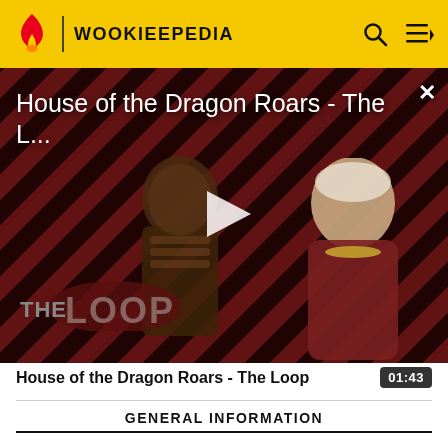WOOKIEEPEDIA
[Figure (screenshot): Video thumbnail showing two characters from House of the Dragon TV show against a diagonal red and black striped background. A white play button is centered. 'THE LOOP' logo appears at bottom left. Title overlay reads 'House of the Dragon Roars - The L...' with a close X button.]
House of the Dragon Roars - The Loop  01:43
GENERAL INFORMATION
| Field | Value |
| --- | --- |
| MILITARY UNIT TYPE | Special forces[1] |